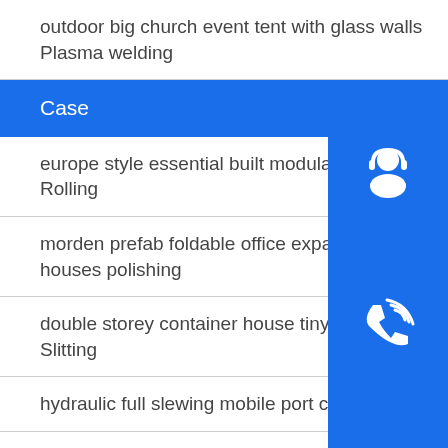outdoor big church event tent with glass walls
Plasma welding
Case
europe style essential built modular prefabricate
Rolling
morden prefab foldable office expandable conta
houses polishing
double storey container house tiny removable conta
Slitting
hydraulic full slewing mobile port crane Slitting
building iron rod stainless wire hot rolled steel wire
[Figure (infographic): Three side icons: headset/customer service icon, phone call icon, and Skype icon, all in blue boxes]